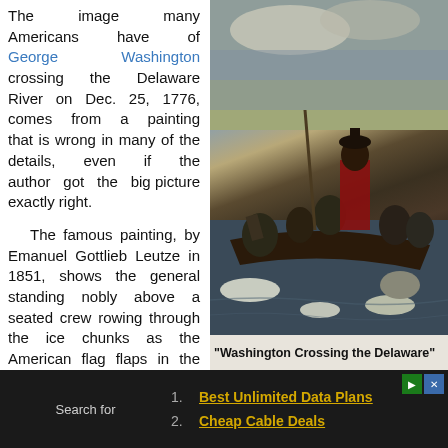The image many Americans have of George Washington crossing the Delaware River on Dec. 25, 1776, comes from a painting that is wrong in many of the details, even if the author got the big picture exactly right. The famous painting, by Emanuel Gottlieb Leutze in 1851, shows the general standing nobly above a seated crew rowing through the ice chunks as the American flag flaps in the breeze. But there are major
[Figure (photo): Famous painting 'Washington Crossing the Delaware' by Emanuel Gottlieb Leutze showing George Washington standing in a boat crossing the Delaware River with soldiers rowing through ice chunks]
"Washington Crossing the Delaware"
Search for
1. Best Unlimited Data Plans
2. Cheap Cable Deals